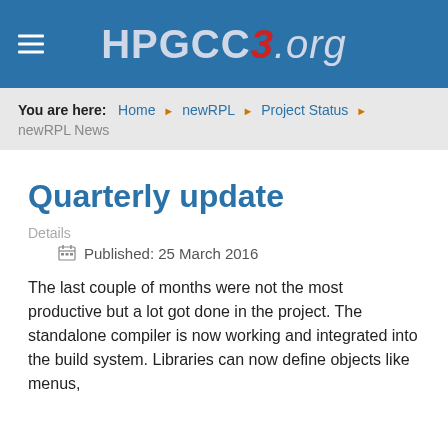HPGCC3.org
You are here: Home › newRPL › Project Status › newRPL News
Quarterly update
Details
Published: 25 March 2016
The last couple of months were not the most productive but a lot got done in the project. The standalone compiler is now working and integrated into the build system. Libraries can now define objects like menus,